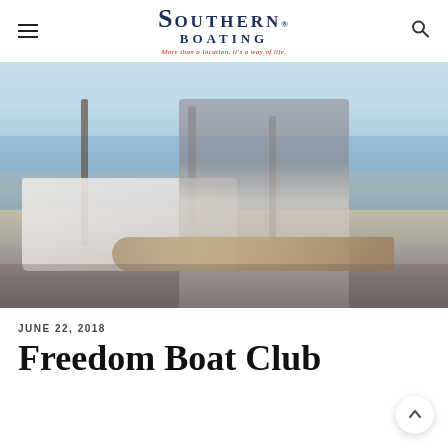Southern Boating — More than a location, it's a way of life.
[Figure (photo): Person standing at a marina dock holding a large fish (redfish/red drum), with boats visible in background and blue sky overhead.]
JUNE 22, 2018
Freedom Boat Club